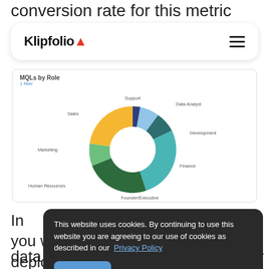conversion rate for this metric
[Figure (logo): Klipfolio logo with hamburger menu navigation bar]
[Figure (donut-chart): MQLs by Role]
In place you will ne y deployed li get historic data (unless you're a kung-fu master at
This website uses cookies. By continuing to use this website you are agreeing to our use of cookies as described in our Privacy Policy